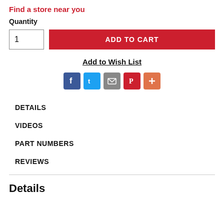Find a store near you
Quantity
[Figure (screenshot): Quantity input box showing '1' and red ADD TO CART button]
Add to Wish List
[Figure (infographic): Social sharing icons: Facebook, Twitter, Email, Pinterest, More (+)]
DETAILS
VIDEOS
PART NUMBERS
REVIEWS
Details